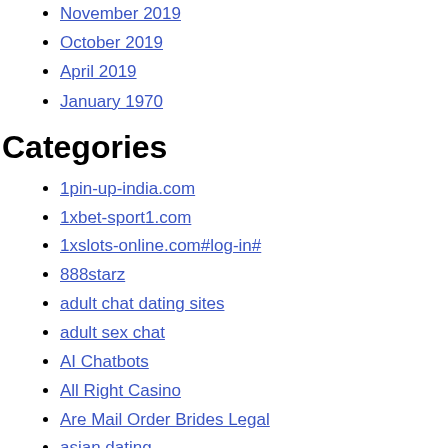November 2019
October 2019
April 2019
January 1970
Categories
1pin-up-india.com
1xbet-sport1.com
1xslots-online.com#log-in#
888starz
adult chat dating sites
adult sex chat
AI Chatbots
All Right Casino
Are Mail Order Brides Legal
asian dating
aviator-online-game.com
Best CBD Brands